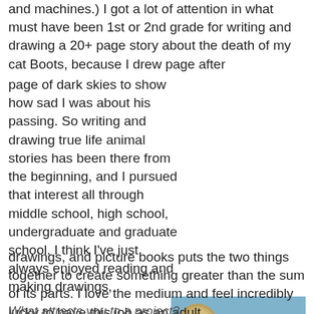and machines.) I got a lot of attention in what must have been 1st or 2nd grade for writing and drawing a 20+ page story about the death of my cat Boots, because I drew page after page of dark skies to show how sad I was about his passing. So writing and drawing true life animal stories has been there from the beginning, and I pursued that interest all through middle school, high school, undergraduate and graduate school. I think I've just always enjoyed reading and making drawings, and picture books puts the two things together to create something greater than the sum of its parts. I love the medium and feel incredibly lucky to have this job as an adult.
[Figure (illustration): Book cover of 'Neighborhood Sharks: Hunting with the Great Whites of California's Farallon Islands' by Katherine Roy. Features an illustration of a great white shark with red/pink water, and a Sibert medal medallion in the upper left.]
What attracts you to a project?